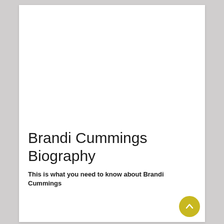Brandi Cummings Biography
This is what you need to know about Brandi Cummings